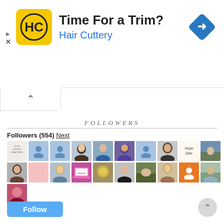[Figure (screenshot): Advertisement banner for Hair Cuttery with yellow HC logo, text 'Time For a Trim?' and 'Hair Cuttery' in blue, and a blue navigation arrow icon on the right]
FOLLOWERS
Followers (554) Next
[Figure (screenshot): Grid of follower profile avatars showing 21 thumbnails across 3 rows, mix of photos and placeholder icons]
Follow